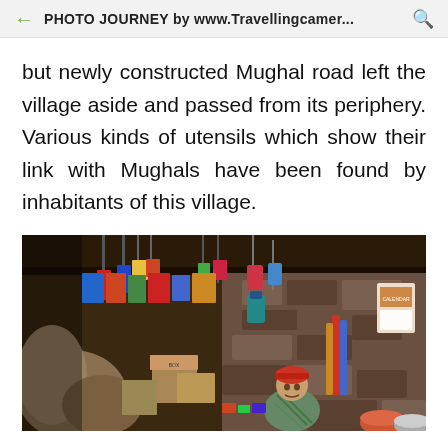PHOTO JOURNEY by www.Travellingcamer...
but newly constructed Mughal road left the village aside and passed from its periphery. Various kinds of utensils which show their link with Mughals have been found by inhabitants of this village.
[Figure (photo): Interior of a small village shop with a shopkeeper sitting among various goods including boxes, packets, hanging items, and merchandise displayed on shelves and walls made of stone.]